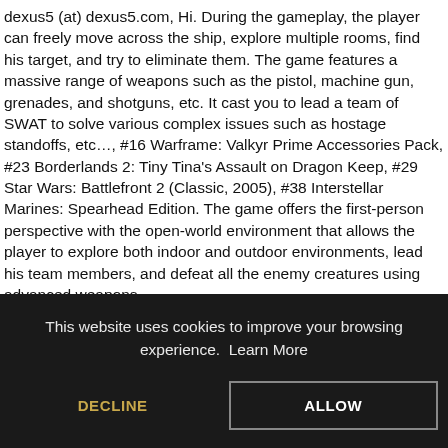dexus5 (at) dexus5.com, Hi. During the gameplay, the player can freely move across the ship, explore multiple rooms, find his target, and try to eliminate them. The game features a massive range of weapons such as the pistol, machine gun, grenades, and shotguns, etc. It cast you to lead a team of SWAT to solve various complex issues such as hostage standoffs, etc…, #16 Warframe: Valkyr Prime Accessories Pack, #23 Borderlands 2: Tiny Tina's Assault on Dragon Keep, #29 Star Wars: Battlefront 2 (Classic, 2005), #38 Interstellar Marines: Spearhead Edition. The game offers the first-person perspective with the open-world environment that allows the player to explore both indoor and outdoor environments, lead his team members, and defeat all the enemy creatures using advanced weapons.
The player can switch between any weapons at any time during the mission. The game includes new classic maps, modes, and characters
This website uses cookies to improve your browsing experience. Learn More
DECLINE
ALLOW